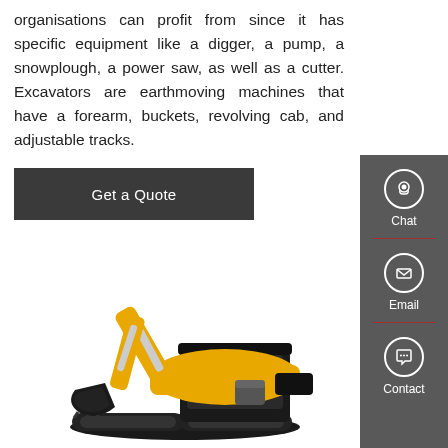organisations can profit from since it has specific equipment like a digger, a pump, a snowplough, a power saw, as well as a cutter. Excavators are earthmoving machines that have a forearm, buckets, revolving cab, and adjustable tracks.
Get a Quote
[Figure (photo): A yellow and black mini excavator with cab, boom arm, bucket, and tracks on white background]